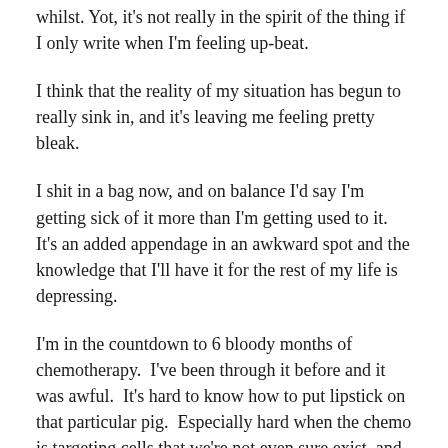whilst. Yot, it's not really in the spirit of the thing if I only write when I'm feeling up-beat.
I think that the reality of my situation has begun to really sink in, and it's leaving me feeling pretty bleak.
I shit in a bag now, and on balance I'd say I'm getting sick of it more than I'm getting used to it.  It's an added appendage in an awkward spot and the knowledge that I'll have it for the rest of my life is depressing.
I'm in the countdown to 6 bloody months of chemotherapy.  I've been through it before and it was awful.  It's hard to know how to put lipstick on that particular pig.  Especially hard when the chemo is targeting cells that we're not even sure exist, and where its success will be impossible to measure.
I'm still experiencing a good deal of discomfort from the